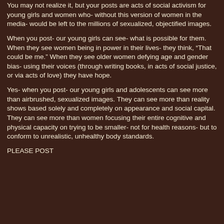You may not realize it, but your posts are acts of social activism for young girls and women who- without this version of women in the media- would be left to the millions of sexualized, objectified images.
When you post- our young girls can see- what is possible for them. When they see women being in power in their lives- they think, “That could be me.” When they see older women defying age and gender bias- using their voices (through writing books, in acts of social justice, or via acts of love) they have hope.
Yes- when you post- our young girls and adolescents can see more than airbrushed, sexualized images. They can see more than reality shows based solely and completely on appearance and social capital. They can see more than women focusing their entire cognitive and physical capacity on trying to be smaller- not for health reasons- but to conform to unrealistic, unhealthy body standards.
PLEASE POST